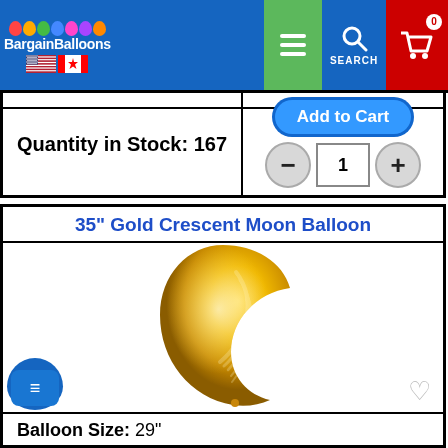BargainBalloons navigation header with logo, US and Canada flags, menu, search, and cart buttons
Quantity in Stock: 167
Add to Cart
1
35" Gold Crescent Moon Balloon
[Figure (photo): Gold crescent moon foil balloon on white background]
Balloon Size: 29"